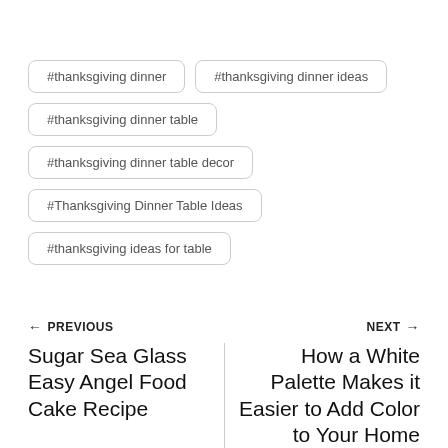#thanksgiving dinner
#thanksgiving dinner ideas
#thanksgiving dinner table
#thanksgiving dinner table decor
#Thanksgiving Dinner Table Ideas
#thanksgiving ideas for table
← PREVIOUS
NEXT →
Sugar Sea Glass Easy Angel Food Cake Recipe
How a White Palette Makes it Easier to Add Color to Your Home